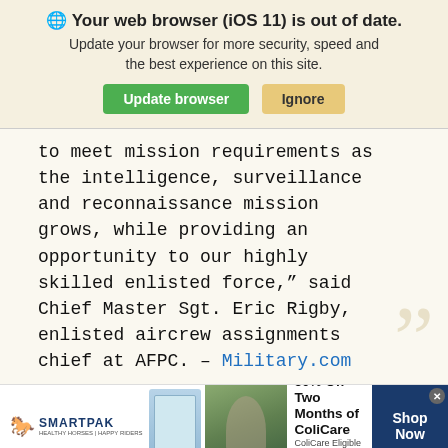🌐 Your web browser (iOS 11) is out of date.
Update your browser for more security, speed and the best experience on this site.
to meet mission requirements as the intelligence, surveillance and reconnaissance mission grows, while providing an opportunity to our highly skilled enlisted force," said Chief Master Sgt. Eric Rigby, enlisted aircrew assignments chief at AFPC. – Military.com
[Figure (infographic): SmartPak advertisement banner: 50% Off Two Months of ColiCare, ColiCare Eligible Supplements, CODE: COLICARE10. Shop Now button.]